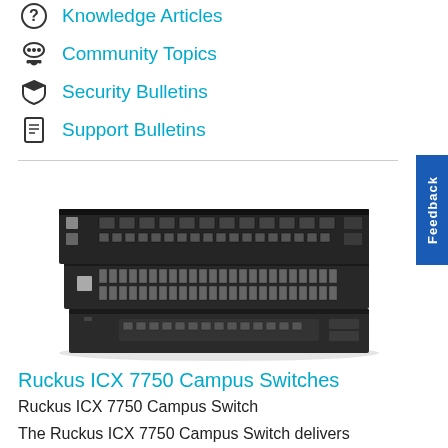Knowledge Articles
Community Topics
Security Bulletins
Support Bulletins
[Figure (photo): Stack of three Ruckus ICX 7750 Campus Switch units showing front panel with ports including SFP+ ports on top unit, fiber ports on middle unit, and RJ45 copper ports on bottom unit.]
Ruckus ICX 7750 Campus Switches
Ruckus ICX 7750 Campus Switch
The Ruckus ICX 7750 Campus Switch delivers industry-leading 10/40 GbE port density, advanced high availability capabilities, and flexible stacking